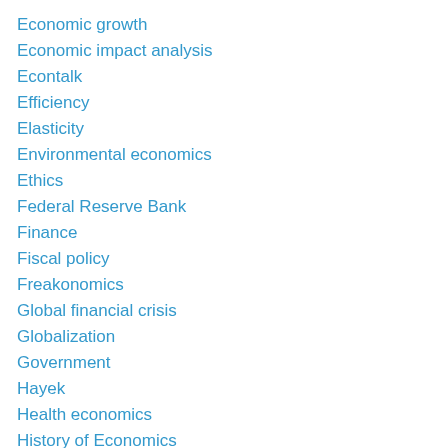Economic growth
Economic impact analysis
Econtalk
Efficiency
Elasticity
Environmental economics
Ethics
Federal Reserve Bank
Finance
Fiscal policy
Freakonomics
Global financial crisis
Globalization
Government
Hayek
Health economics
History of Economics
Incentives
India
Inequality